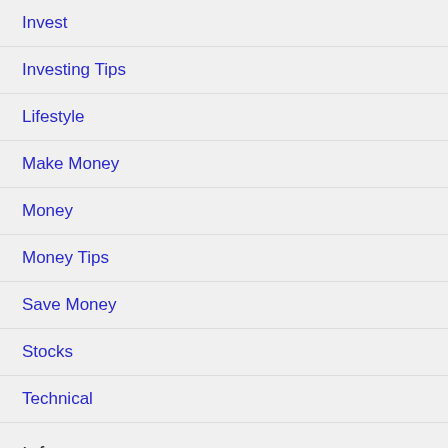Invest
Investing Tips
Lifestyle
Make Money
Money
Money Tips
Save Money
Stocks
Technical
Info